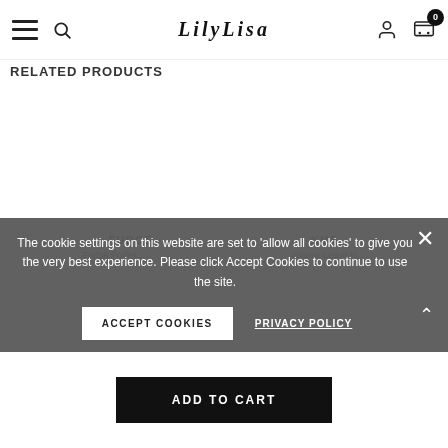LilyLisa — navigation header with hamburger menu, search, logo, user icon, and cart (0)
RELATED PRODUCTS
The cookie settings on this website are set to 'allow all cookies' to give you the very best experience. Please click Accept Cookies to continue to use the site.
FUDGE
KMS
Fudge Profes... Volume Leave In...
ACCEPT COOKIES
PRIVACY POLICY
ADD TO CART